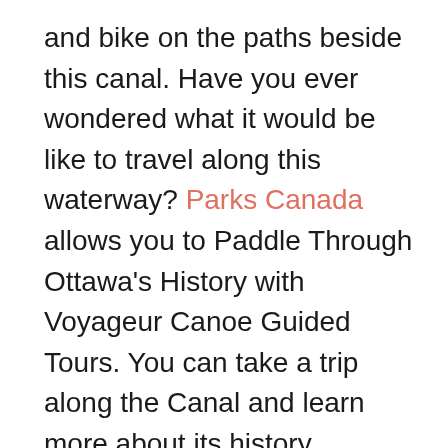and bike on the paths beside this canal. Have you ever wondered what it would be like to travel along this waterway? Parks Canada allows you to Paddle Through Ottawa's History with Voyageur Canoe Guided Tours. You can take a trip along the Canal and learn more about its history.